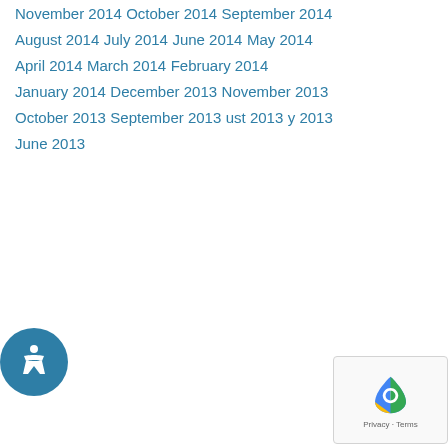November 2014
October 2014
September 2014
August 2014
July 2014
June 2014
May 2014
April 2014
March 2014
February 2014
January 2014
December 2013
November 2013
October 2013
September 2013
August 2013
July 2013
June 2013